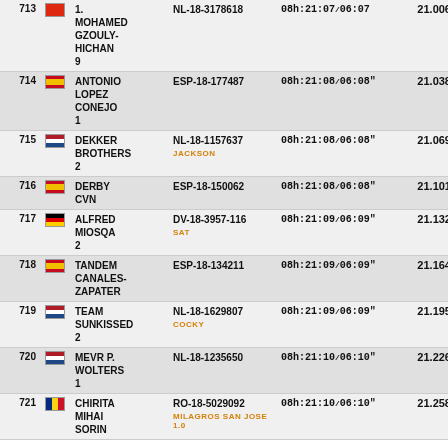| # | Name | Flag | Ring No | Time | Score |
| --- | --- | --- | --- | --- | --- |
| 713 | 1. MOHAMED GZOULY-HICHAN 9 | CN | NL-18-3178618 | 08h:21:07/06:07 | 21.006 |
| 714 | ANTONIO LOPEZ CONEJO 1 | ESP | ESP-18-177487 | 08h:21:08/06:08 | 21.038 |
| 715 | DEKKER BROTHERS 2 | NL | NL-18-1157637 JACKSON | 08h:21:08/06:08 | 21.069 |
| 716 | DERBY CVN | ESP | ESP-18-150062 | 08h:21:08/06:08 | 21.101 |
| 717 | ALFRED MIOSQA 2 | DE | DV-18-3957-116 SAT | 08h:21:09/06:09 | 21.132 |
| 718 | TANDEM CANALES-ZAPATER | ESP | ESP-18-134211 | 08h:21:09/06:09 | 21.164 |
| 719 | TEAM SUNKISSED 2 | NL | NL-18-1629807 COCKY | 08h:21:09/06:09 | 21.195 |
| 720 | MEVR P. WOLTERS 1 | NL | NL-18-1235650 | 08h:21:10/06:10 | 21.226 |
| 721 | CHIRITA MIHAI SORIN | RO | RO-18-5029092 MILAGROS SAN JOSE 1.0 | 08h:21:10/06:10 | 21.258 |